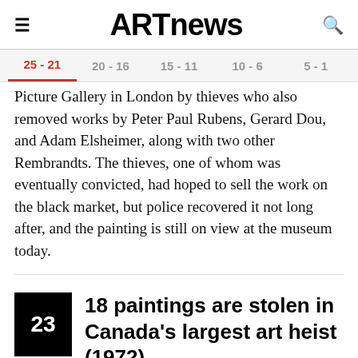ARTnews
25 - 21 | 20 - 16 | 15 - 11 | 10 - 6 | 5 - 1
Picture Gallery in London by thieves who also removed works by Peter Paul Rubens, Gerard Dou, and Adam Elsheimer, along with two other Rembrandts. The thieves, one of whom was eventually convicted, had hoped to sell the work on the black market, but police recovered it not long after, and the painting is still on view at the museum today.
18 paintings are stolen in Canada's largest art heist (1972)